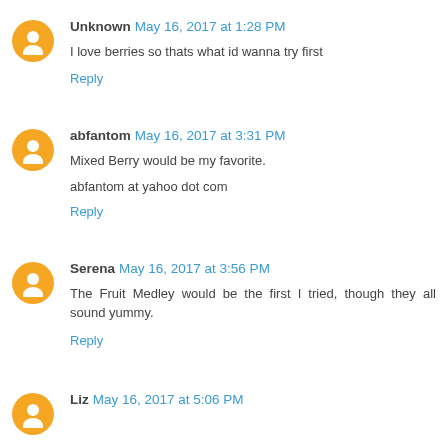Unknown May 16, 2017 at 1:28 PM
I love berries so thats what id wanna try first
Reply
abfantom May 16, 2017 at 3:31 PM
Mixed Berry would be my favorite.
abfantom at yahoo dot com
Reply
Serena May 16, 2017 at 3:56 PM
The Fruit Medley would be the first I tried, though they all sound yummy.
Reply
Liz May 16, 2017 at 5:06 PM